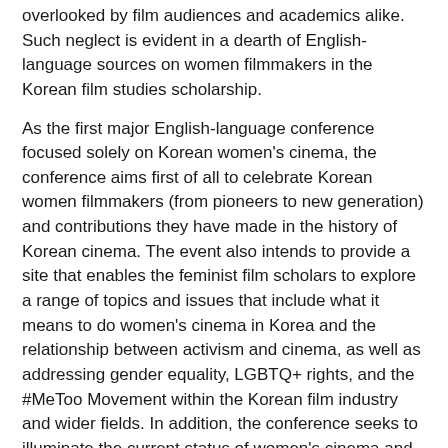overlooked by film audiences and academics alike. Such neglect is evident in a dearth of English-language sources on women filmmakers in the Korean film studies scholarship.
As the first major English-language conference focused solely on Korean women's cinema, the conference aims first of all to celebrate Korean women filmmakers (from pioneers to new generation) and contributions they have made in the history of Korean cinema. The event also intends to provide a site that enables the feminist film scholars to explore a range of topics and issues that include what it means to do women's cinema in Korea and the relationship between activism and cinema, as well as addressing gender equality, LGBTQ+ rights, and the #MeToo Movement within the Korean film industry and wider fields. In addition, the conference seeks to illuminate the current status of women's cinema and to envisage future trends.
Invited Speakers (so far) include:
Chungmoo Choi (University of California, Irvine)
Yim Soon-rye (filmmaker)
Kangyu Garam (documentary filmmaker)